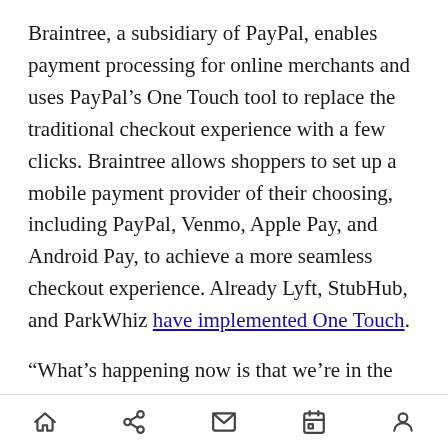Braintree, a subsidiary of PayPal, enables payment processing for online merchants and uses PayPal's One Touch tool to replace the traditional checkout experience with a few clicks. Braintree allows shoppers to set up a mobile payment provider of their choosing, including PayPal, Venmo, Apple Pay, and Android Pay, to achieve a more seamless checkout experience. Already Lyft, StubHub, and ParkWhiz have implemented One Touch.
“What’s happening now is that we’re in the coming-of-age of the digital wallet,” said Ready. “We’re moving into a world where a digital wallet is becoming a must have.”
[navigation bar: home, share, mail, calendar, person]